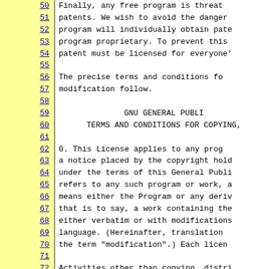Finally, any free program is threatened by patents.  We wish to avoid the danger that redistributors of a free program will individually obtain patent licenses, in effect making the program proprietary.  To prevent this, we have made it clear that any patent must be licensed for everyone's free use or not licensed at all.
The precise terms and conditions for copying, distribution and modification follow.
GNU GENERAL PUBLIC LICENSE
TERMS AND CONDITIONS FOR COPYING, DISTRIBUTION AND MODIFICATION
0. This License applies to any program or other work which contains a notice placed by the copyright holder saying it may be distributed under the terms of this General Public License.  The "Program", below, refers to any such program or work, and a "work based on the Program" means either the Program or any derivative work under copyright law: that is to say, a work containing the Program or a portion of it, either verbatim or with modifications and/or translated into another language.  (Hereinafter, translation is included without limitation in the term "modification".)  Each licensee is addressed as "you".
Activities other than copying, distribution and modification are not covered by this License; they are outside its scope.